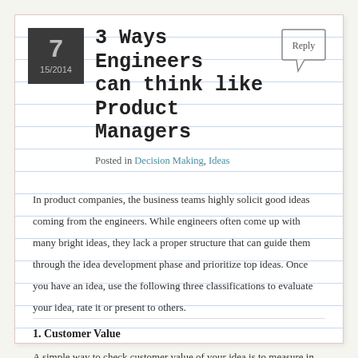3 Ways Engineers can think like Product Managers
Posted in Decision Making, Ideas
In product companies, the business teams highly solicit good ideas coming from the engineers. While engineers often come up with many bright ideas, they lack a proper structure that can guide them through the idea development phase and prioritize top ideas. Once you have an idea, use the following three classifications to evaluate your idea, rate it or present to others.
1. Customer Value
A simple way to check customer value of your idea is to measure in terms of better, cheaper or faster? Is the